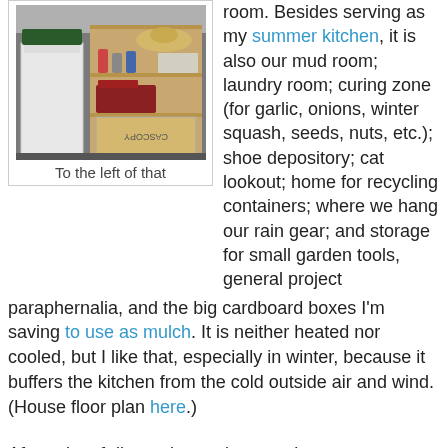[Figure (photo): Interior photo of a cluttered utility room/garage area showing a white appliance (refrigerator or freezer), a wooden shelving unit with various items including a straw hat, spray cans, a basket, and boxes including a Cascopy cardboard box, and other assorted items on the floor.]
To the left of that
room. Besides serving as my summer kitchen, it is also our mud room; laundry room; curing zone (for garlic, onions, winter squash, seeds, nuts, etc.); shoe depository; cat lookout; home for recycling containers; where we hang our rain gear; and storage for small garden tools, general project paraphernalia, and the big cardboard boxes I'm saving to use as mulch. It is neither heated nor cooled, but I like that, especially in winter, because it buffers the kitchen from the cold outside air and wind. (House floor plan here.)
After a lot of discussing and measuring, we came up with a plan: